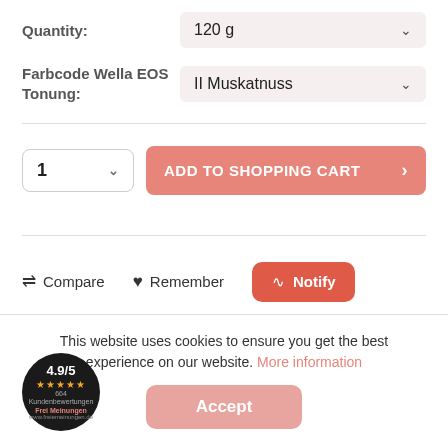Quantity:
120 g
Farbcode Wella EOS Tonung:
II Muskatnuss
1
ADD TO SHOPPING CART
Compare
Remember
Notify
This website uses cookies to ensure you get the best experience on our website. More information
Accept
[Figure (logo): Black circular rating badge showing 4.9/5 score with 5 gold stars, 664 Kundenbewertungen, Frei Meinungen branding]